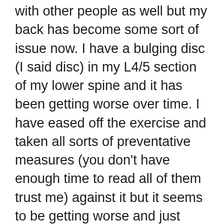with other people as well but my back has become some sort of issue now. I have a bulging disc (I said disc) in my L4/5 section of my lower spine and it has been getting worse over time. I have eased off the exercise and taken all sorts of preventative measures (you don't have enough time to read all of them trust me) against it but it seems to be getting worse and just lately I have been feeling the same pain on the other side as well and have the crazy feeling i've got two areas of concern now. I have worked two jobs for over two years now and saved my ass off and planned/purchased/read journals (the courier knows me by nickname now hehe) and worked really hard to get here but it's feeling a bit like a bitter/sweet now to be honest. Sometimes I doubt myself and I have been thinking about pulling out recently or trying to think of other ways I could get the same fulfillment and I am struggling to get enthused as I once was before